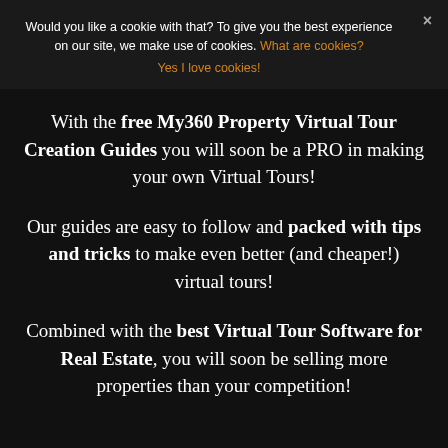Would you like a cookie with that? To give you the best experience on our site, we make use of cookies. What are cookies?
Yes I love cookies!
With the free My360 Property Virtual Tour Creation Guides you will soon be a PRO in making your own Virtual Tours!
Our guides are easy to follow and packed with tips and tricks to make even better (and cheaper!) virtual tours!
Combined with the best Virtual Tour Software for Real Estate, you will soon be selling more properties than your competition!